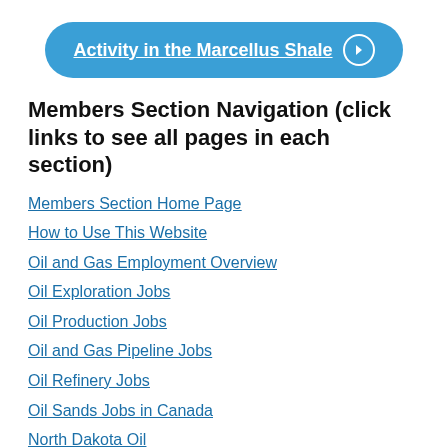[Figure (other): Blue rounded button with text 'Activity in the Marcellus Shale' and a right-arrow circle icon]
Members Section Navigation (click links to see all pages in each section)
Members Section Home Page
How to Use This Website
Oil and Gas Employment Overview
Oil Exploration Jobs
Oil Production Jobs
Oil and Gas Pipeline Jobs
Oil Refinery Jobs
Oil Sands Jobs in Canada
North Dakota Oil
Oil Jobs in Alaska
Natural Gas Fracking
The Barnett Shale Gas Field
Eagle Ford Shale Jobs